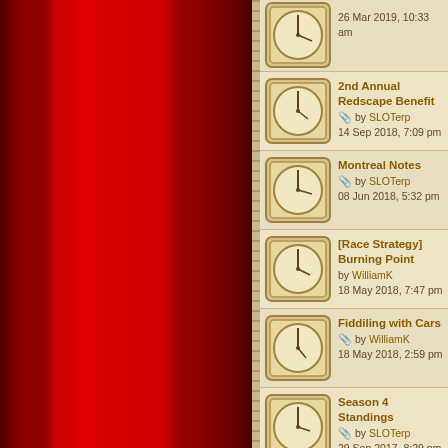26 Mar 2019, 10:33 am
2nd Annual Redscape Benefit — by SLOTerp — 14 Sep 2018, 7:09 pm
Montreal Notes — by SLOTerp — 08 Jun 2018, 5:32 pm
[Race Strategy] Burning Point — by WilliamK — 18 May 2018, 7:47 pm
Fiddiling with Cars — by WilliamK — 18 May 2018, 2:59 pm
Season 4 Standings — by SLOTerp — 29 Sep 2017, 8:29 pm
Season 5 Fields / Tracks — by SLOTerp — 12 May 2018, 1:36 pm
Indy is ready! — by SLOTerp — 25 Apr 2018, 6:08 pm
Season 5 Track Poll — by SLOTerp — 16 Sep 2017, 3:22 pm
Season 4 Tracks — by SLOTerp — 09 Dec 2016, 1:27 pm